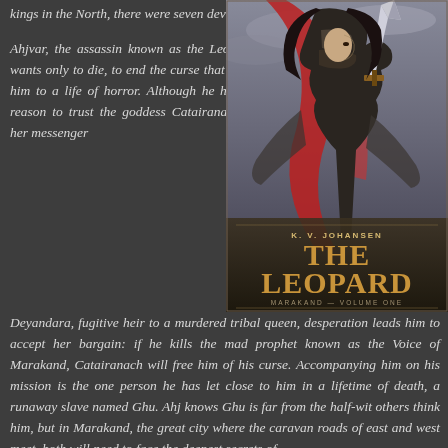kings in the North, there were seven devils…
[Figure (illustration): Book cover of 'The Leopard' by K. V. Johansen, Marakand Volume One. Shows a warrior figure with sword and flowing cape against a dramatic sky.]
Ahjvar, the assassin known as the Leopard, wants only to die, to end the curse that binds him to a life of horror. Although he has no reason to trust the goddess Catairanach or her messenger Deyandara, fugitive heir to a murdered tribal queen, desperation leads him to accept her bargain: if he kills the mad prophet known as the Voice of Marakand, Catairanach will free him of his curse. Accompanying him on his mission is the one person he has let close to him in a lifetime of death, a runaway slave named Ghu. Ahj knows Ghu is far from the half-wit others think him, but in Marakand, the great city where the caravan roads of east and west meet, both will need to face the deepest secrets of